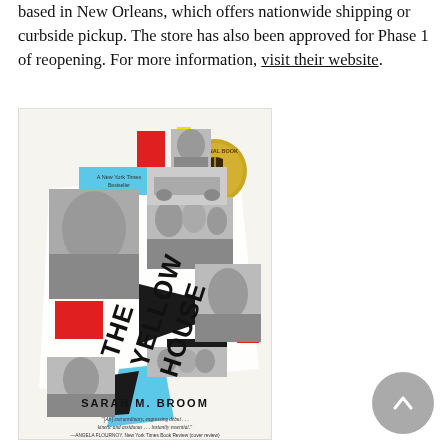based in New Orleans, which offers nationwide shipping or curbside pickup. The store has also been approved for Phase 1 of reopening. For more information, visit their website.
[Figure (photo): Book cover of 'The Yellow House' by Sarah M. Broom — a New York Times Bestseller and National Book Award Winner. The cover features a collage of black-and-white family photographs arranged in a grid pattern, overlaid with bold geometric shapes in red, yellow, cyan/light blue, and black. The title 'THE YELLOW HOUSE' is printed diagonally in large black letters. A quote at the bottom reads: '[An] extraordinary, engrossing debut . . . kinetic and assiduous . . . instantly essential.' —ANGELA FLOURNOY, New York Times Book Review (cover review)]